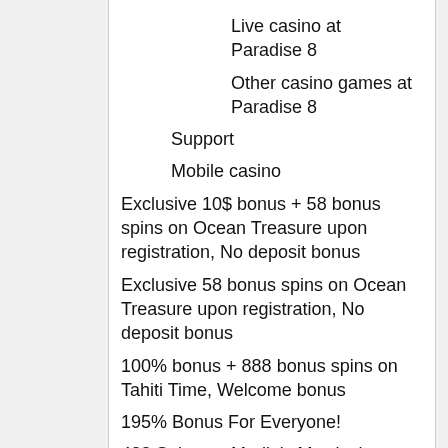Live casino at Paradise 8
Other casino games at Paradise 8
Support
Mobile casino
Exclusive 10$ bonus + 58 bonus spins on Ocean Treasure upon registration, No deposit bonus
Exclusive 58 bonus spins on Ocean Treasure upon registration, No deposit bonus
100% bonus + 888 bonus spins on Tahiti Time, Welcome bonus
195% Bonus For Everyone!
488 Spins on Merlin's Mystical Multipliers
Exclusive 1001 bonus spins on Megawins
300 spins on the Winsanity slot game
Latest Paradise 8 bonuses